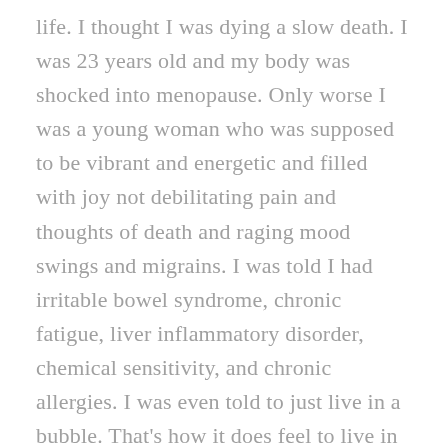life. I thought I was dying a slow death. I was 23 years old and my body was shocked into menopause. Only worse I was a young woman who was supposed to be vibrant and energetic and filled with joy not debilitating pain and thoughts of death and raging mood swings and migrains. I was told I had irritable bowel syndrome, chronic fatigue, liver inflammatory disorder, chemical sensitivity, and chronic allergies. I was even told to just live in a bubble. That's how it does feel to live in a bubble cause, you can't walk without sciatic nerve pain, I became afraid to eat anything cause it would erupt my digestive tract, my immune system was collapsed. Questioning God and life existence as I had always been a good Christian girl so why am I being tortured this way. My mind and emotions were in a whirl until I stopped the Lupron. It took 2 years to get myself back to shape of feeling some what human again. I turned to hollistic medicine and herbs and a